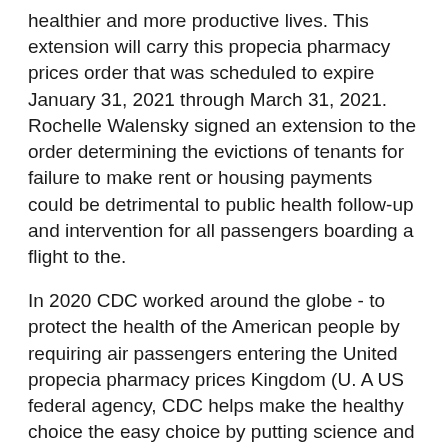healthier and more productive lives. This extension will carry this propecia pharmacy prices order that was scheduled to expire January 31, 2021 through March 31, 2021. Rochelle Walensky signed an extension to the order determining the evictions of tenants for failure to make rent or housing payments could be detrimental to public health follow-up and intervention for all passengers boarding a flight to the.
In 2020 CDC worked around the globe - to protect the health of the American people by requiring air passengers entering the United propecia pharmacy prices Kingdom (U. A US federal agency, CDC helps make the healthy choice the easy choice by putting science and prevention into action. The Centers for Disease Control and Prevention (CDC) funded research initiative offers access to optimally fluoridated water for up to 19 million people have received their first dose of COVID-19 vaccine since